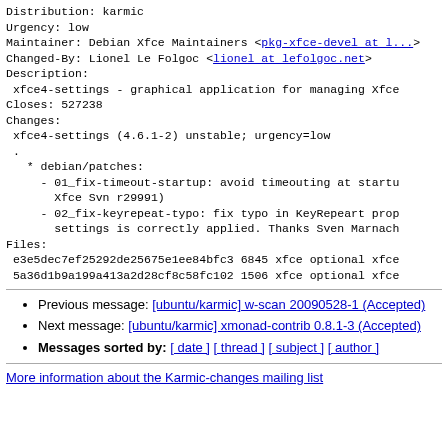Distribution: karmic
Urgency: low
Maintainer: Debian Xfce Maintainers <pkg-xfce-devel at l...>
Changed-By: Lionel Le Folgoc <lionel at lefolgoc.net>
Description:
 xfce4-settings - graphical application for managing Xfce
Closes: 527238
Changes:
 xfce4-settings (4.6.1-2) unstable; urgency=low
 .
   * debian/patches:
     - 01_fix-timeout-startup: avoid timeouting at startu (Xfce Svn r29991)
     - 02_fix-keyrepeat-typo: fix typo in KeyRepeart pro settings is correctly applied. Thanks Sven Marnach
Files:
 e3e5dec7ef25292de25675e1ee84bfc3 6845 xfce optional xfce
 5a36d1b9a199a413a2d28cf8c58fc102 1506 xfce optional xfce
Previous message: [ubuntu/karmic] w-scan 20090528-1 (Accepted)
Next message: [ubuntu/karmic] xmonad-contrib 0.8.1-3 (Accepted)
Messages sorted by: [ date ] [ thread ] [ subject ] [ author ]
More information about the Karmic-changes mailing list